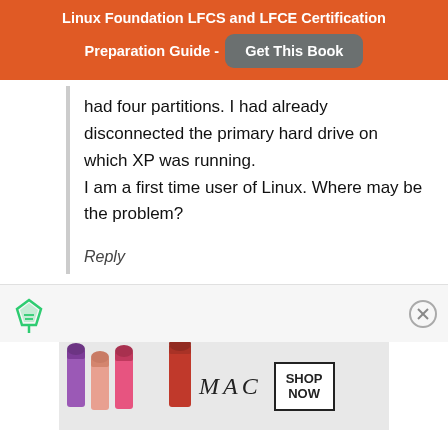Linux Foundation LFCS and LFCE Certification Preparation Guide - Get This Book
had four partitions. I had already disconnected the primary hard drive on which XP was running.
I am a first time user of Linux. Where may be the problem?
Reply
[Figure (infographic): Ad banner area with feather/filter icon on left and close X button on right]
[Figure (photo): MAC cosmetics advertisement showing lipsticks with MAC logo and SHOP NOW button]